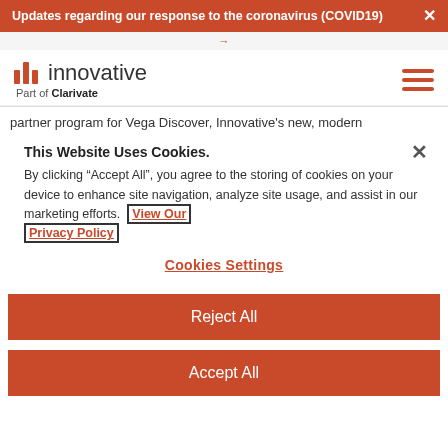Updates regarding our response to the coronavirus (COVID19)
[Figure (logo): Innovative Part of Clarivate logo with three red vertical bars and the word 'innovative' in gray, with 'Part of Clarivate' below]
partner program for Vega Discover, Innovative's new, modern
This Website Uses Cookies.
By clicking “Accept All”, you agree to the storing of cookies on your device to enhance site navigation, analyze site usage, and assist in our marketing efforts. View Our Privacy Policy
Cookies Settings
Reject All
Accept All